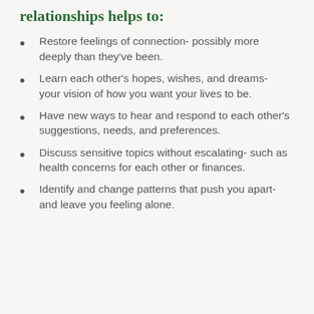Couples therapy for long-term relationships helps to:
Restore feelings of connection- possibly more deeply than they've been.
Learn each other's hopes, wishes, and dreams- your vision of how you want your lives to be.
Have new ways to hear and respond to each other's suggestions, needs, and preferences.
Discuss sensitive topics without escalating- such as health concerns for each other or finances.
Identify and change patterns that push you apart- and leave you feeling alone.